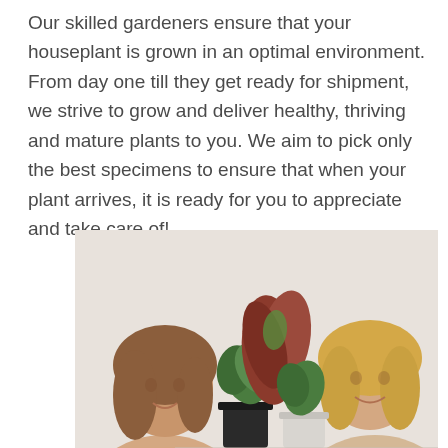Our skilled gardeners ensure that your houseplant is grown in an optimal environment. From day one till they get ready for shipment, we strive to grow and deliver healthy, thriving and mature plants to you. We aim to pick only the best specimens to ensure that when your plant arrives, it is ready for you to appreciate and take care of!
[Figure (photo): Two smiling women holding houseplants in pots against a light background]